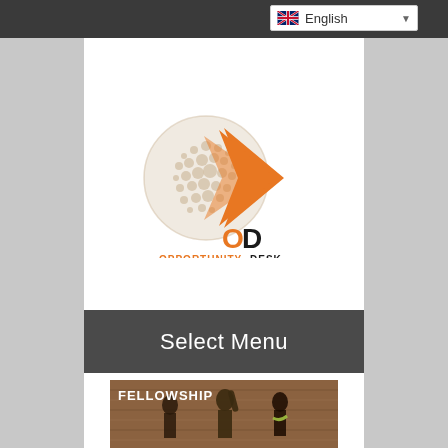English
[Figure (logo): Opportunity Desk logo: globe with orange arrow/chevron, text OPPORTUNITYDESK]
Select Menu
[Figure (photo): Fellowship banner with people celebrating, text FELLOWSHIP]